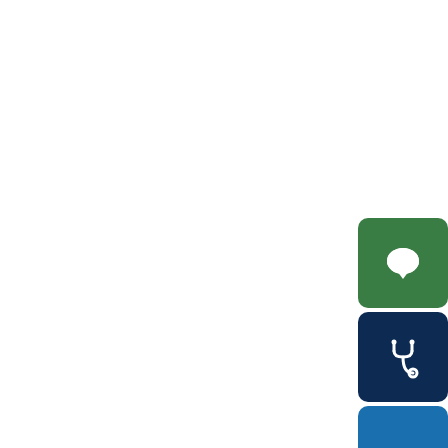[Figure (infographic): Green rounded square button with white speech bubble / chat icon]
[Figure (infographic): Dark navy rounded square button with white stethoscope icon]
[Figure (infographic): Blue rounded rectangle button (partially visible at bottom)]